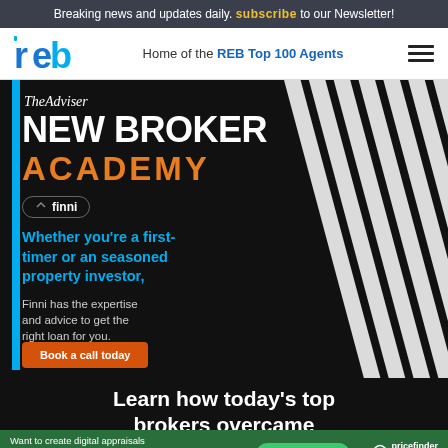Breaking news and updates daily. subscribe to our Newsletter!
[Figure (logo): REB logo - blue stylized letters 'reb']
Home of the REB Top 100 Agents
[Figure (infographic): TheAdviser New Broker Academy advertisement with Finni branding on dark background. Includes text: 'TheAdviser NEW BROKER ACADEMY', finni logo badge, headline 'Whether you’re a first-timer or an seasoned property investor,', body text 'Finni has the expertise and advice to get the right loan for you.', and 'Book a call today' button. Also shows 'Learn how today’s top brokers overcame' text at bottom.]
[Figure (infographic): Pricefinder Agent Solutions banner ad on green background. Text: 'Want to create digital appraisals that will stand out? There’s a solution for that.' with 'Get Pricefinder' button and Pricefinder / Agent Solutions logo.]